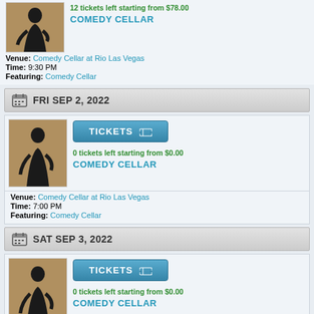12 tickets left starting from $78.00
COMEDY CELLAR
Venue: Comedy Cellar at Rio Las Vegas
Time: 9:30 PM
Featuring: Comedy Cellar
FRI SEP 2, 2022
[Figure (photo): Silhouette of a performer against a tan/brown background]
TICKETS
0 tickets left starting from $0.00
COMEDY CELLAR
Venue: Comedy Cellar at Rio Las Vegas
Time: 7:00 PM
Featuring: Comedy Cellar
SAT SEP 3, 2022
[Figure (photo): Silhouette of a performer against a tan/brown background]
TICKETS
0 tickets left starting from $0.00
COMEDY CELLAR
Venue: Comedy Cellar at Rio Las Vegas
Time: 7:00 PM
Featuring: Comedy Cellar